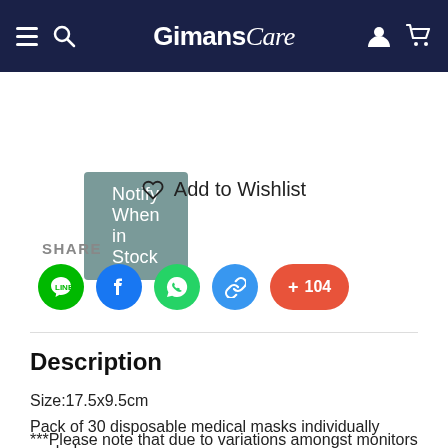Gimans Care
Notify When in Stock
♡ Add to Wishlist
SHARE
[Figure (other): Social share icons: LINE (green circle), Facebook (blue circle), WhatsApp (green circle), link (blue circle), and a red pill button showing '+104']
Description
Size:17.5x9.5cm
Pack of 30 disposable medical masks individually sealed
***Please note that due to variations amongst monitors